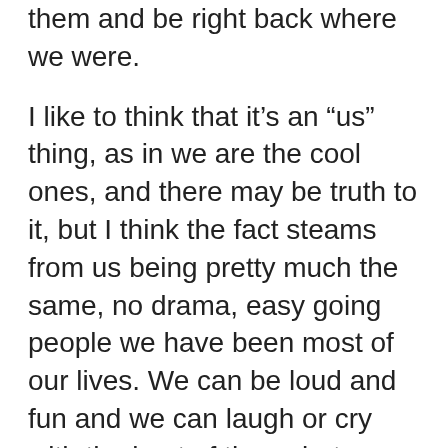them and be right back where we were.
I like to think that it's an “us” thing, as in we are the cool ones, and there may be truth to it, but I think the fact steams from us being pretty much the same, no drama, easy going people we have been most of our lives. We can be loud and fun and we can laugh or cry with the best of them, but we are always true to us.
The realization I have come to this week, thanks to a conversation with one of the true friends, is that we do have a finite amount of time in life, and it would make the most sense to maximize the amount of time